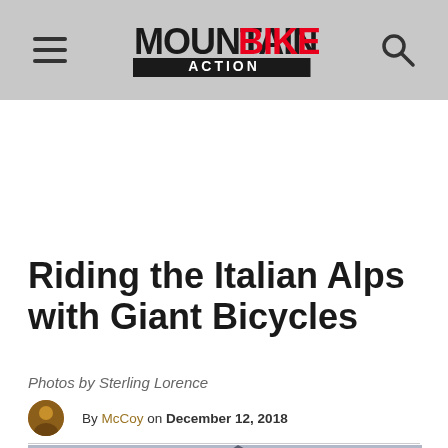Mountain Bike Action
Riding the Italian Alps with Giant Bicycles
Photos by Sterling Lorence
By McCoy on December 12, 2018
[Figure (photo): Mountain landscape with snow-capped peaks under overcast sky]